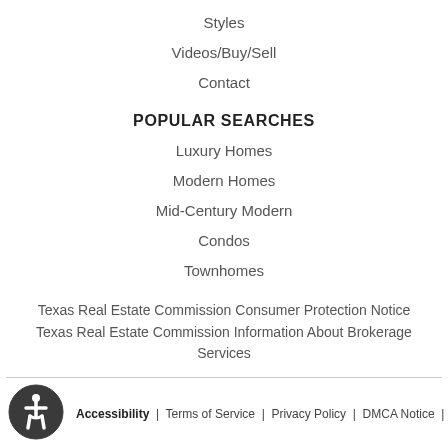Styles
Videos/Buy/Sell
Contact
POPULAR SEARCHES
Luxury Homes
Modern Homes
Mid-Century Modern
Condos
Townhomes
Texas Real Estate Commission Consumer Protection Notice
Texas Real Estate Commission Information About Brokerage Services
Accessibility | Terms of Service | Privacy Policy | DMCA Notice | Property